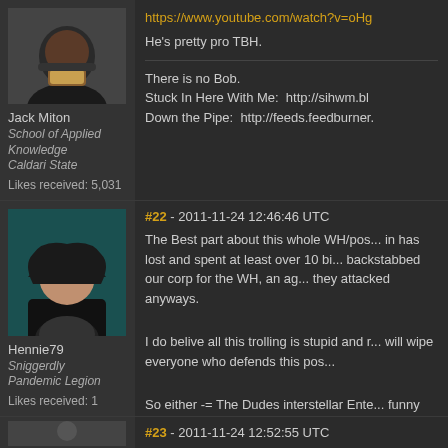[Figure (photo): Avatar image of Jack Miton - person with dark skin and gold jewelry]
Jack Miton
School of Applied Knowledge
Caldari State
Likes received: 5,031
https://www.youtube.com/watch?v=oHg
He's pretty pro TBH.
There is no Bob.
Stuck In Here With Me:  http://sihwm.bl
Down the Pipe:  http://feeds.feedburner.
[Figure (photo): Avatar image of Hennie79 - woman with dark hair in black outfit]
Hennie79
Sniggerdly
Pandemic Legion
Likes received: 1
#22 - 2011-11-24 12:46:46 UTC
The Best part about this whole WH/pos... in has lost and spent at least over 10 bi... backstabbed our corp for the WH, an ag... they attacked anyways.
I do belive all this trolling is stupid and r... will wipe everyone who defends this pos...
So either -= The Dudes interstellar Ente... funny part is there paying more then the...
#23 - 2011-11-24 12:52:55 UTC